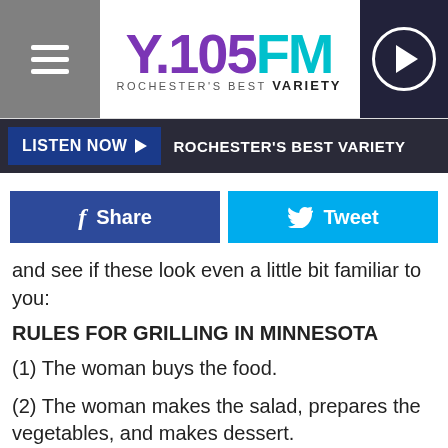[Figure (screenshot): Y.105FM Rochester's Best Variety radio station website header with hamburger menu, logo, and play button]
LISTEN NOW ▶  ROCHESTER'S BEST VARIETY
[Figure (screenshot): Facebook Share and Twitter Tweet social sharing buttons]
and see if these look even a little bit familiar to you:
RULES FOR GRILLING IN MINNESOTA
(1) The woman buys the food.
(2) The woman makes the salad, prepares the vegetables, and makes dessert.
(3) The woman prepares the meat for cooking, places it on a tray along with the necessary cooking utensils and sauces, and takes it to the man who is lounging beside the grill - beer in hand.